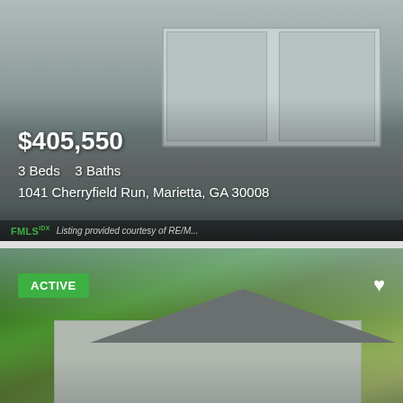[Figure (photo): Photo of a house with gray garage door at 1041 Cherryfield Run, Marietta, GA 30008, listed for $405,550]
$405,550
3 Beds    3 Baths
1041 Cherryfield Run, Marietta, GA 30008
FMLS  Listing provided courtesy of RE/M...
[Figure (photo): Photo of a house with green trees and lawn at 4933 Preswick Ct NE, Marietta, GA 30066, listed for $395,000. Tagged as ACTIVE.]
$395,000
4 Beds    3 Baths
4933 Preswick Ct NE, Marietta, GA 30066
FMLS  Listing provided courtesy of Opendoor Br...